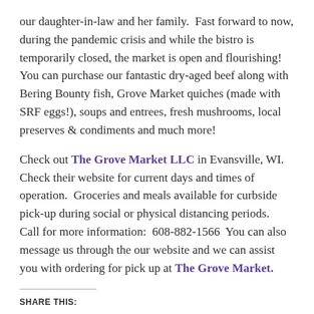our daughter-in-law and her family.  Fast forward to now, during the pandemic crisis and while the bistro is temporarily closed, the market is open and flourishing!  You can purchase our fantastic dry-aged beef along with Bering Bounty fish, Grove Market quiches (made with SRF eggs!), soups and entrees, fresh mushrooms, local preserves & condiments and much more!
Check out The Grove Market LLC in Evansville, WI.  Check their website for current days and times of operation.  Groceries and meals available for curbside pick-up during social or physical distancing periods.  Call for more information:  608-882-1566  You can also message us through the our website and we can assist you with ordering for pick up at The Grove Market.
SHARE THIS: